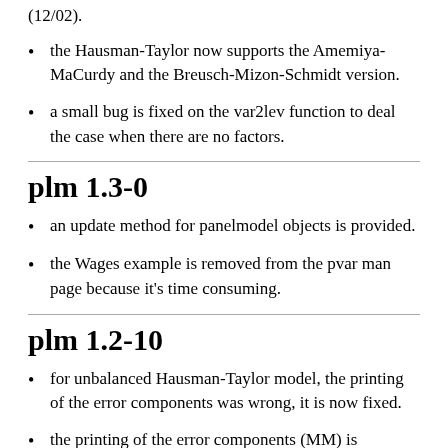(12/02).
the Hausman-Taylor now supports the Amemiya-MaCurdy and the Breusch-Mizon-Schmidt version.
a small bug is fixed on the var2lev function to deal the case when there are no factors.
plm 1.3-0
an update method for panelmodel objects is provided.
the Wages example is removed from the pvar man page because it's time consuming.
plm 1.2-10
for unbalanced Hausman-Taylor model, the printing of the error components was wrong, it is now fixed.
the printing of the error components (MM) is...